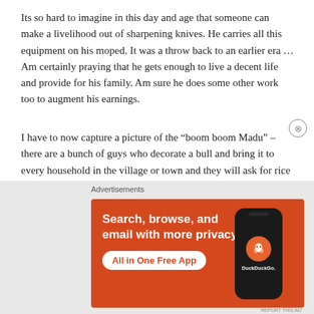Its so hard to imagine in this day and age that someone can make a livelihood out of sharpening knives. He carries all this equipment on his moped. It was a throw back to an earlier era … Am certainly praying that he gets enough to live a decent life and provide for his family. Am sure he does some other work too to augment his earnings.
I have to now capture a picture of the “boom boom Madu” – there are a bunch of guys who decorate a bull and bring it to every household in the village or town and they will ask for rice or clothes etc. They will bless the house and the people if you give them something. Probably one of these days I will find one of them.
[Figure (infographic): DuckDuckGo advertisement banner with orange background. Left side shows bold white text: 'Search, browse, and email with more privacy.' with a white rounded button 'All in One Free App'. Right side shows a stylized dark smartphone with DuckDuckGo logo (orange circle with duck icon) and 'DuckDuckGo.' branding.]